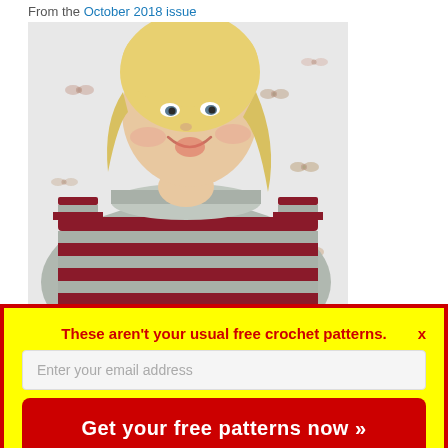From the October 2018 issue
[Figure (photo): Blonde woman smiling, wearing a grey and dark red/maroon striped crochet sweater, posed against a white background decorated with small bow-tie shapes]
These aren't your usual free crochet patterns.
Enter your email address
Get your free patterns now »